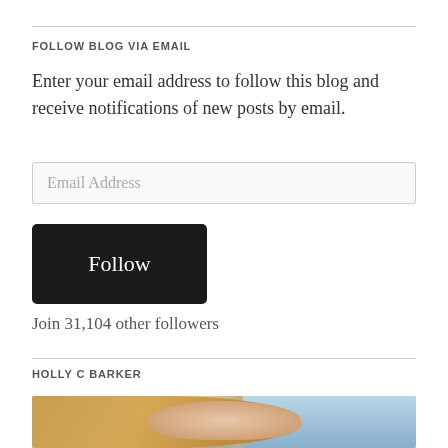FOLLOW BLOG VIA EMAIL
Enter your email address to follow this blog and receive notifications of new posts by email.
Email Address
Follow
Join 31,104 other followers
HOLLY C BARKER
[Figure (photo): Photo of Holly C Barker, a blonde woman photographed from the shoulders up]